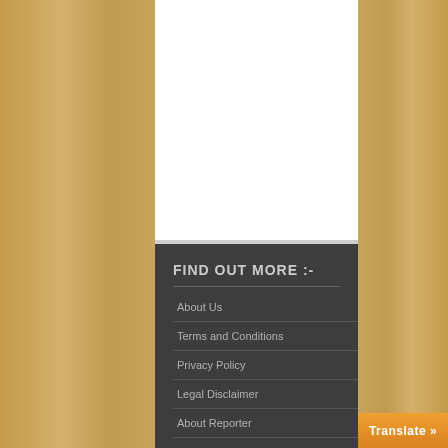FIND OUT MORE :-
About Us
Terms and Conditions
Privacy Policy
Legal Disclaimer
About Reporter
Join US
Contact Us
Advertise With Us
Translate »